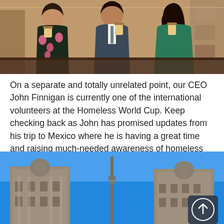[Figure (photo): Three people standing together indoors, holding coffee cups. Woman on the left wearing a floral top, man in the middle wearing a blazer, woman on the right wearing a green top.]
On a separate and totally unrelated point, our CEO John Finnigan is currently one of the international volunteers at the Homeless World Cup. Keep checking back as John has promised updates from his trip to Mexico where he is having a great time and raising much-needed awareness of homeless people’s plights across the world.
[Figure (photo): Architectural photo showing ornate historic buildings with domed towers against a clear blue sky, likely in Mexico City. A scroll-to-top button is visible in the bottom right corner.]